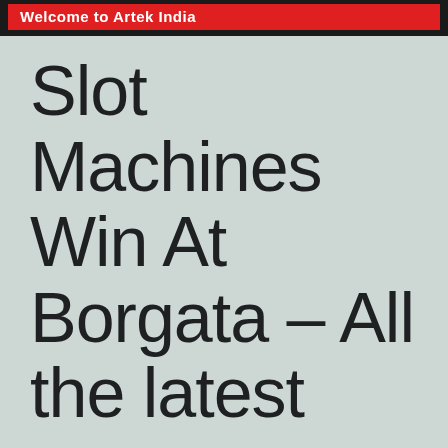Welcome to Artek India
Slot Machines Win At Borgata – All the latest news on online slot